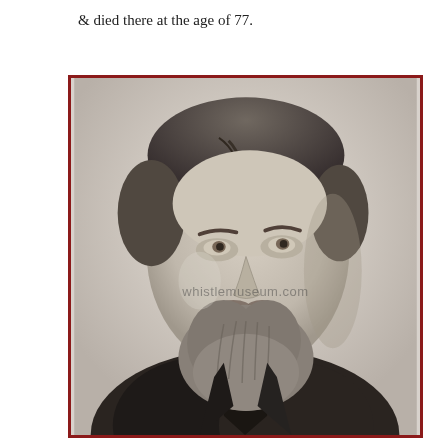& died there at the age of 77.
[Figure (photo): Black and white portrait photograph of a middle-aged man with a beard and side-parted hair, wearing a dark jacket and necktie, looking slightly upward. Watermark reads 'whistlemuseum.com'.]